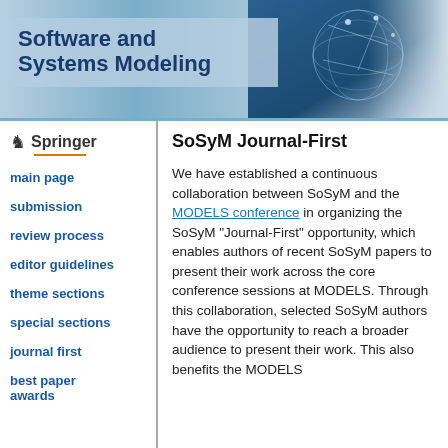[Figure (illustration): Header banner for Software and Systems Modeling journal with blue gradient background and globe/network imagery on the right side]
Software and Systems Modeling
[Figure (logo): Springer publisher logo with chess knight piece and orange underline]
main page
submission
review process
editor guidelines
theme sections
special sections
journal first
best paper awards
SoSyM Journal-First
We have established a continuous collaboration between SoSyM and the MODELS conference in organizing the SoSyM "Journal-First" opportunity, which enables authors of recent SoSyM papers to present their work across the core conference sessions at MODELS. Through this collaboration, selected SoSyM authors have the opportunity to reach a broader audience to present their work. This also benefits the MODELS